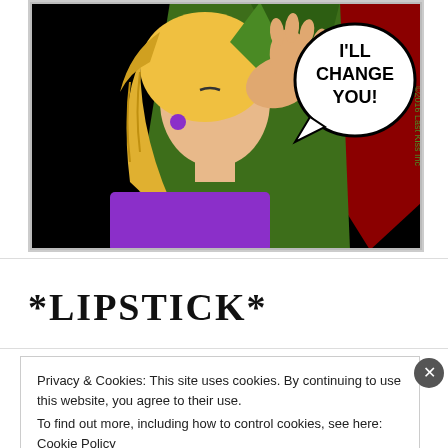[Figure (illustration): Comic panel illustration showing a blonde woman in purple top with a person in green jacket. Speech bubble reads 'I'LL CHANGE YOU!' with copyright '©2016 Last Kiss Inc' on the right side.]
*LIPSTICK*
Privacy & Cookies: This site uses cookies. By continuing to use this website, you agree to their use.
To find out more, including how to control cookies, see here: Cookie Policy